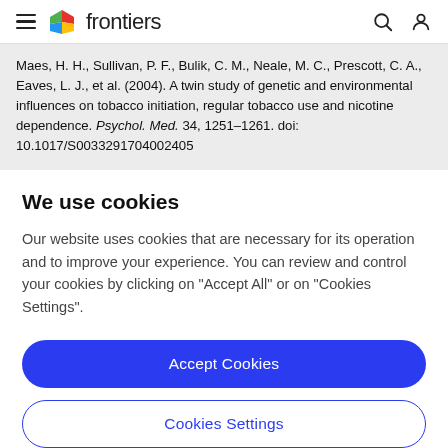frontiers
Maes, H. H., Sullivan, P. F., Bulik, C. M., Neale, M. C., Prescott, C. A., Eaves, L. J., et al. (2004). A twin study of genetic and environmental influences on tobacco initiation, regular tobacco use and nicotine dependence. Psychol. Med. 34, 1251–1261. doi: 10.1017/S0033291704002405
We use cookies
Our website uses cookies that are necessary for its operation and to improve your experience. You can review and control your cookies by clicking on "Accept All" or on "Cookies Settings".
Accept Cookies
Cookies Settings